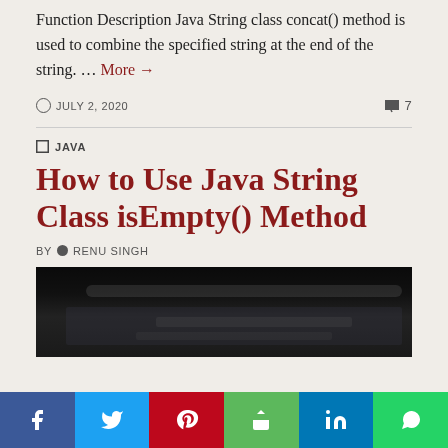Function Description Java String class concat() method is used to combine the specified string at the end of the string. … More →
JULY 2, 2020   7
JAVA
How to Use Java String Class isEmpty() Method
BY  RENU SINGH
[Figure (screenshot): Dark screenshot of a code editor or IDE interface showing a laptop/monitor display]
f  t   pinterest  share  in  whatsapp